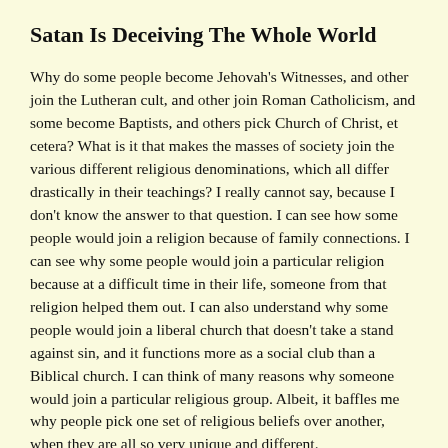Satan Is Deceiving The Whole World
Why do some people become Jehovah's Witnesses, and other join the Lutheran cult, and other join Roman Catholicism, and some become Baptists, and others pick Church of Christ, et cetera? What is it that makes the masses of society join the various different religious denominations, which all differ drastically in their teachings? I really cannot say, because I don't know the answer to that question. I can see how some people would join a religion because of family connections. I can see why some people would join a particular religion because at a difficult time in their life, someone from that religion helped them out. I can also understand why some people would join a liberal church that doesn't take a stand against sin, and it functions more as a social club than a Biblical church. I can think of many reasons why someone would join a particular religious group. Albeit, it baffles me why people pick one set of religious beliefs over another, when they are all so very unique and different.
You can round-up all of the churches and religious groups in the world into two main categories: 1) Those